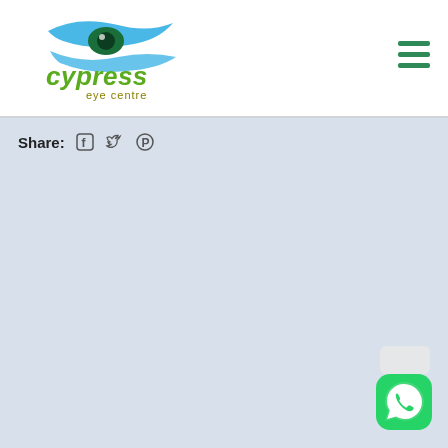[Figure (logo): Cypress Eye Centre logo with RC: 1163066]
Share: Facebook Twitter Pinterest
[Figure (other): WhatsApp contact button in bottom right corner]